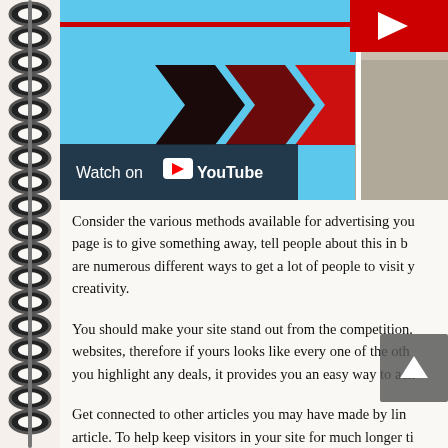[Figure (screenshot): YouTube video thumbnail showing three right-pointing arrows (black to dark red gradient) on a blue background, with a red horizontal line near the top, a YouTube play button in the top-right corner, a hand pointing from the right, and a 'Watch on YouTube' bar at the bottom left.]
Consider the various methods available for advertising you... page is to give something away, tell people about this in b... are numerous different ways to get a lot of people to visit y... creativity.
You should make your site stand out from the competition... websites, therefore if yours looks like every one of the oth... you highlight any deals, it provides you an easy way to ach...
Get connected to other articles you may have made by lin... article. To help keep visitors in your site for much longer ti... related information or past updates. Within this sense in...